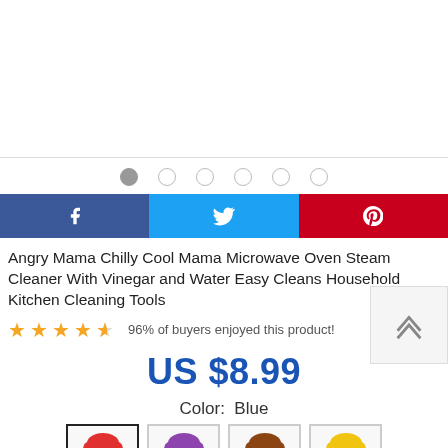[Figure (photo): White/empty product image area with bottom border]
[Figure (other): Image carousel dots — 6 circles, first one filled/active]
[Figure (other): Social share buttons: Facebook (blue), Twitter (cyan), Pinterest (red)]
Angry Mama Chilly Cool Mama Microwave Oven Steam Cleaner With Vinegar and Water Easy Cleans Household Kitchen Cleaning Tools
96% of buyers enjoyed this product!
US $8.99
Color:  Blue
[Figure (photo): Color variant swatches: red/blue figure (selected, bordered), purple figure, green figure, yellow figure]